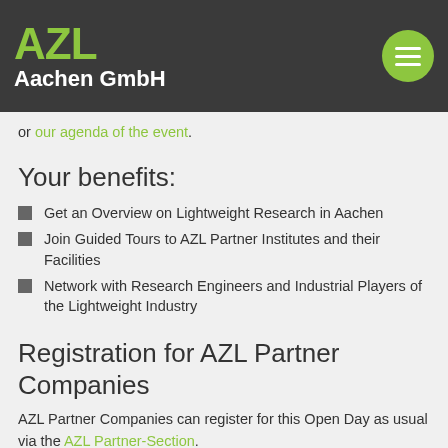AZL Aachen GmbH
or our agenda of the event.
Your benefits:
Get an Overview on Lightweight Research in Aachen
Join Guided Tours to AZL Partner Institutes and their Facilities
Network with Research Engineers and Industrial Players of the Lightweight Industry
Registration for AZL Partner Companies
AZL Partner Companies can register for this Open Day as usual via the AZL Partner-Section.
Registration for non-Partner Companies:
Due to the high number of participants we have met the limit for registration. Please use our Eventbrite...